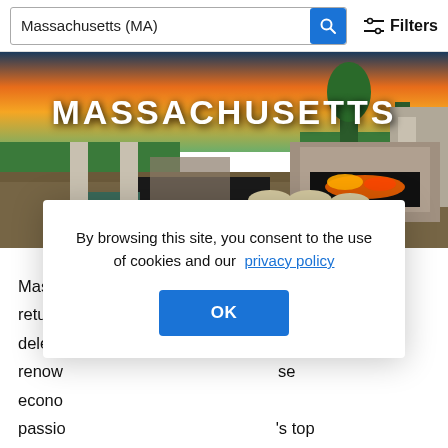Massachusetts (MA)
[Figure (photo): Luxury outdoor living space with fireplace and seating at sunset, with MASSACHUSETTS text overlay]
Massa ... n return ... delecta ... renow ... se econo ... passio ... 's top builders, Toll Brothers meets the needs buyers looking
By browsing this site, you consent to the use of cookies and our privacy policy
OK